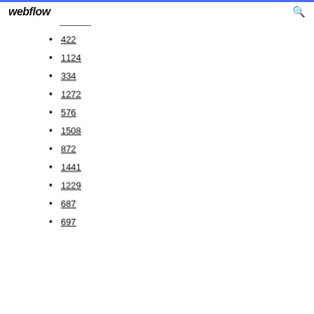webflow
422
1124
334
1272
576
1508
872
1441
1229
687
697